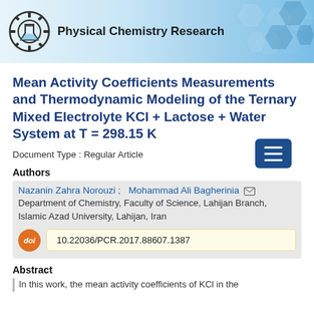[Figure (logo): Physical Chemistry Research journal header banner with gear/flask logo and hexagonal pattern background]
Mean Activity Coefficients Measurements and Thermodynamic Modeling of the Ternary Mixed Electrolyte KCl + Lactose + Water System at T = 298.15 K
Document Type : Regular Article
Authors
Nazanin Zahra Norouzi ; Mohammad Ali Bagherinia
Department of Chemistry, Faculty of Science, Lahijan Branch, Islamic Azad University, Lahijan, Iran
10.22036/PCR.2017.88607.1387
Abstract
In this work, the mean activity coefficients of KCl in the